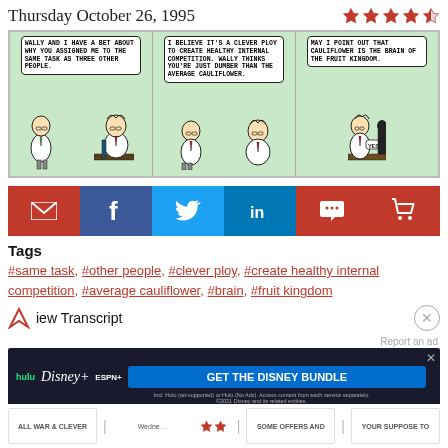Thursday October 26, 1995
[Figure (illustration): Dilbert comic strip with three panels. Panel 1: Dilbert says 'WALLY AND I HAVE A BET ABOUT WHY YOU ASSIGNED ME TO THE SAME TASK AS THREE OTHER PEOPLE.' Panel 2: Boss replies 'I BELIEVE IT'S A CLEVER PLOY TO CREATE HEALTHY INTERNAL COMPETITION. WALLY THINKS YOU'RE JUST DUMBER THAN THE AVERAGE CAULIFLOWER.' Panel 3: Character says 'MAY I POINT OUT THAT CAULIFLOWER IS THE BRAIN OF THE FRUIT KINGDOM.' with 'YES!' response.]
[Figure (infographic): Social sharing buttons row: email (red), Facebook (blue), Twitter (light blue), LinkedIn (dark blue), comment (red), cart (red)]
Tags
#same task, #other people, #clever ploy, #create healthy internal competition, #average cauliflower, #brain, #fruit kingdom
View Transcript
[Figure (screenshot): Disney Bundle advertisement banner with Hulu, Disney+, ESPN+ logos and 'GET THE DISNEY BUNDLE' call to action button]
Report an ad